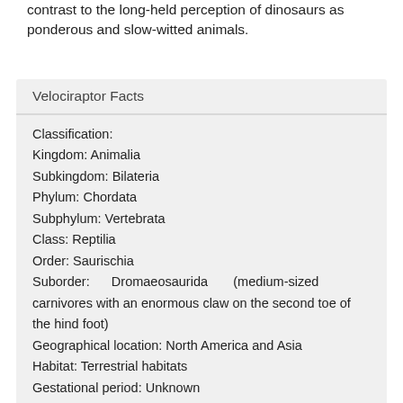contrast to the long-held perception of dinosaurs as ponderous and slow-witted animals.
| Velociraptor Facts |
| --- |
| Classification: |
| Kingdom: Animalia |
| Subkingdom: Bilateria |
| Phylum: Chordata |
| Subphylum: Vertebrata |
| Class: Reptilia |
| Order: Saurischia |
| Suborder: Dromaeosaurida (medium-sized carnivores with an enormous claw on the second toe of the hind foot) |
| Geographical location: North America and Asia |
| Habitat: Terrestrial habitats |
| Gestational period: Unknown |
| Life span: Unknown |
| Special anatomy: Medium-sized bipedal carnivores with a well-developed, sickle-shaped |